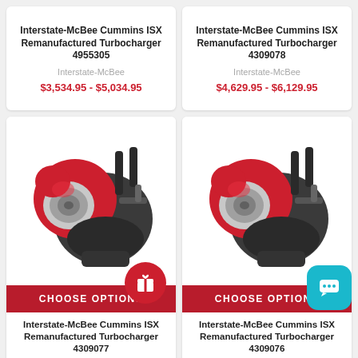Interstate-McBee Cummins ISX Remanufactured Turbocharger 4955305
Interstate-McBee
$3,534.95 - $5,034.95
Interstate-McBee Cummins ISX Remanufactured Turbocharger 4309078
Interstate-McBee
$4,629.95 - $6,129.95
[Figure (photo): Red and black remanufactured turbocharger unit]
CHOOSE OPTIONS
Interstate-McBee Cummins ISX Remanufactured Turbocharger 4309077
Interstate-McBee
[Figure (photo): Red and black remanufactured turbocharger unit]
CHOOSE OPTIONS
Interstate-McBee Cummins ISX Remanufactured Turbocharger 4309076
Interstate-McBee